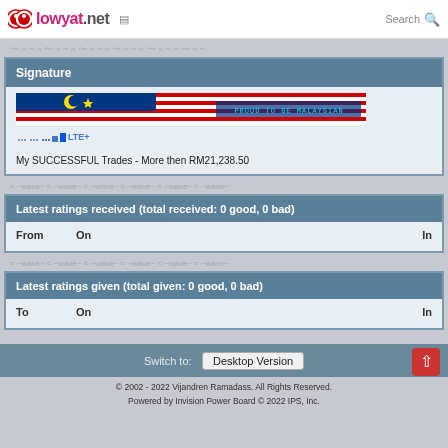lowyat.net | Search
Signature
[Figure (illustration): Malaysian flag banner image with text PROUD TO BE MALAYSIAN and signal bars with LTE+ label]
My SUCCESSFUL Trades - More then RM21,238.50
Latest ratings received (total received: 0 good, 0 bad)
| From | On | In |
| --- | --- | --- |
Latest ratings given (total given: 0 good, 0 bad)
| To | On | In |
| --- | --- | --- |
Switch to: Desktop Version
© 2002 - 2022 Vijandren Ramadass. All Rights Reserved. Powered by Invision Power Board © 2022 IPS, Inc.